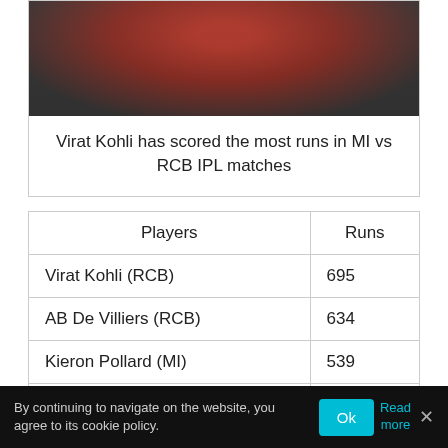[Figure (photo): Virat Kohli in red jersey, partial upper body visible against dark background]
Virat Kohli has scored the most runs in MI vs RCB IPL matches
| Players | Runs |
| --- | --- |
| Virat Kohli (RCB) | 695 |
| AB De Villiers (RCB) | 634 |
| Kieron Pollard (MI) | 539 |
| Rohit Sharma (MI) | 478 |
| Ambati Rayudu (MI) | 431 |
By continuing to navigate on the website, you agree to its cookie policy.